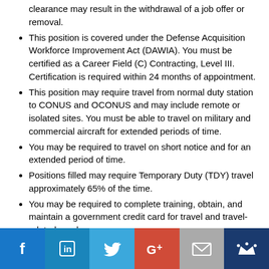clearance may result in the withdrawal of a job offer or removal.
This position is covered under the Defense Acquisition Workforce Improvement Act (DAWIA). You must be certified as a Career Field (C) Contracting, Level III. Certification is required within 24 months of appointment.
This position may require travel from normal duty station to CONUS and OCONUS and may include remote or isolated sites. You must be able to travel on military and commercial aircraft for extended periods of time.
You may be required to travel on short notice and for an extended period of time.
Positions filled may require Temporary Duty (TDY) travel approximately 65% of the time.
You may be required to complete training, obtain, and maintain a government credit card for travel and travel-related purchases.
You may be required to complete ethics orientation within
[Figure (infographic): Social media sharing bar with icons: Facebook, LinkedIn, Twitter, Google+, Email, Crown/bookmark]